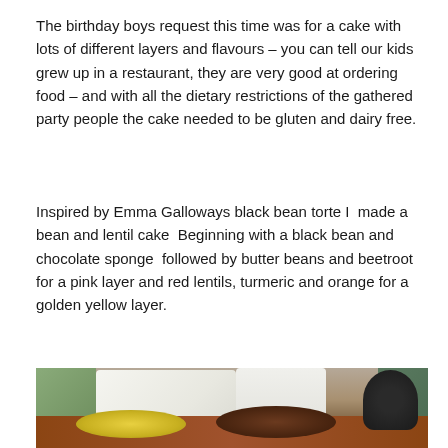The birthday boys request this time was for a cake with lots of different layers and flavours – you can tell our kids grew up in a restaurant, they are very good at ordering food – and with all the dietary restrictions of the gathered party people the cake needed to be gluten and dairy free.
Inspired by Emma Galloways black bean torte I  made a bean and lentil cake  Beginning with a black bean and chocolate sponge  followed by butter beans and beetroot for a pink layer and red lentils, turmeric and orange for a golden yellow layer.
[Figure (photo): Kitchen scene showing cake layers being prepared: a yellow sponge layer and a chocolate/dark layer on a wooden table surface, with a white cloth-covered item, a white chair, and green kitchen cabinetry in the background, plus a dark colander or bowl on the right.]